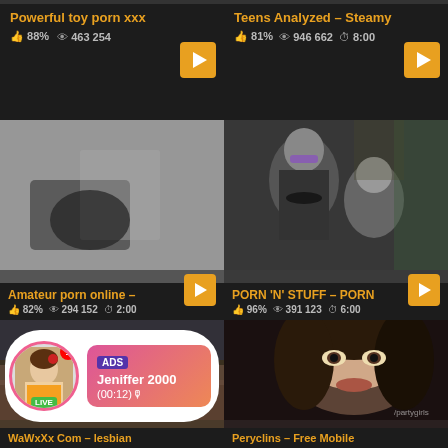Powerful toy porn xxx — 88% · 463 254 views
Teens Analyzed – Steamy — 81% · 946 662 views · 8:00
[Figure (photo): Video thumbnail: blurry close-up of legs in dark socks]
[Figure (photo): Video thumbnail: two women, one with shaved sides and purple makeup, wearing black beaded necklace]
Amateur porn online – — 82% · 294 152 · 2:00
PORN 'N' STUFF – PORN — 96% · 391 123 · 6:00
[Figure (photo): Video thumbnail: woman lying down on couch with ad overlay showing Jeniffer 2000 LIVE chat notification]
[Figure (photo): Video thumbnail: close-up of woman's face with dark hair and eyes]
WaWxXx Com – lesbian
Peryclins – Free Mobile